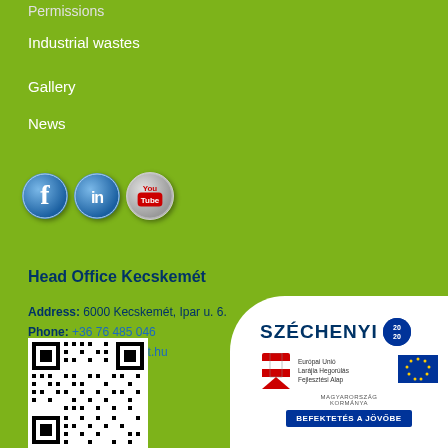Permissions
Industrial wastes
Gallery
News
[Figure (illustration): Social media icons: Facebook, LinkedIn, YouTube]
Head Office Kecskemét
Address: 6000 Kecskemét, Ipar u. 6.
Phone: +36 76 485 046
E-mail: info@designkft.hu
[Figure (other): QR code]
[Figure (logo): Széchenyi 2020 logo with EU funding badge and 'Befektetés a jövőbe' text]